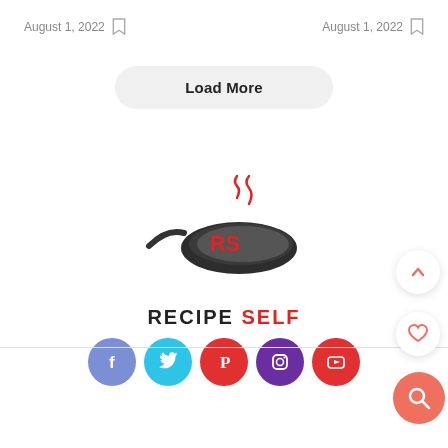August 1, 2022    August 1, 2022
Load More
[Figure (logo): Recipe Self logo: a frying pan with steam and 'RS' text inside, above the text 'RECIPE SELF']
[Figure (infographic): Social media icons: Facebook, Twitter, Pinterest, Instagram, YouTube]